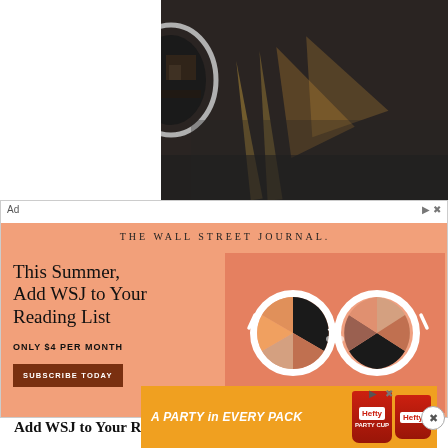[Figure (photo): Dark asphalt surface with light shadow streaks and a partial view of a bowl on the left edge]
[Figure (infographic): Wall Street Journal advertisement: 'This Summer, Add WSJ to Your Reading List. Only $4 per month. Subscribe Today.' with illustrated sunglasses graphic on salmon/peach background.]
Ad
Add WSJ to Your Reading List
You make 35,000 decisions every day. Make them count with trusted reporting
[Figure (infographic): Hefty brand advertisement: 'A PARTY in EVERY PACK' on orange background with Hefty cup product image]